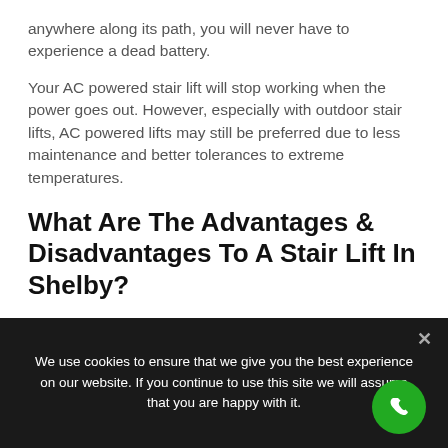anywhere along its path, you will never have to experience a dead battery.
Your AC powered stair lift will stop working when the power goes out. However, especially with outdoor stair lifts, AC powered lifts may still be preferred due to less maintenance and better tolerances to extreme temperatures.
What Are The Advantages & Disadvantages To A Stair Lift In Shelby?
If you live in an area where power outages are
We use cookies to ensure that we give you the best experience on our website. If you continue to use this site we will assume that you are happy with it.